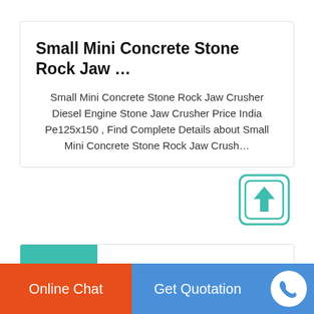Small Mini Concrete Stone Rock Jaw …
Small Mini Concrete Stone Rock Jaw Crusher Diesel Engine Stone Jaw Crusher Price India Pe125x150 , Find Complete Details about Small Mini Concrete Stone Rock Jaw Crush…
[Figure (other): Upload/share icon button — teal-bordered square with upward arrow]
[Figure (other): Thumbnail image placeholder with teal background square]
Various Types of Coal Crusher Plant India Jaw Crushing
Online Chat
Get Quotation
[Figure (other): Phone/call circular button icon]